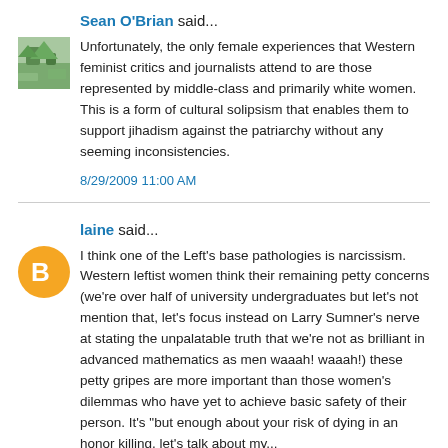Sean O'Brian said...
Unfortunately, the only female experiences that Western feminist critics and journalists attend to are those represented by middle-class and primarily white women. This is a form of cultural solipsism that enables them to support jihadism against the patriarchy without any seeming inconsistencies.
8/29/2009 11:00 AM
laine said...
I think one of the Left's base pathologies is narcissism. Western leftist women think their remaining petty concerns (we're over half of university undergraduates but let's not mention that, let's focus instead on Larry Sumner's nerve at stating the unpalatable truth that we're not as brilliant in advanced mathematics as men waaah! waaah!) these petty gripes are more important than those women's dilemmas who have yet to achieve basic safety of their person. It's "but enough about your risk of dying in an honor killing, let's talk about my...